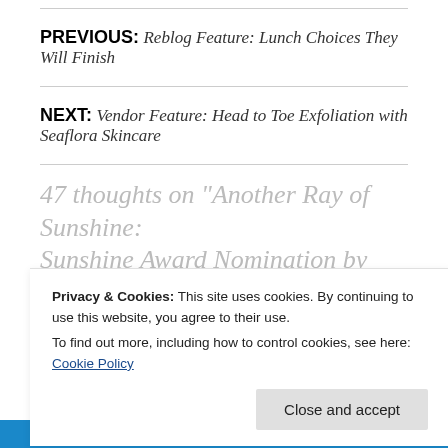PREVIOUS: Reblog Feature: Lunch Choices They Will Finish
NEXT: Vendor Feature: Head to Toe Exfoliation with Seaflora Skincare
47 thoughts on “Another Ray of Sunshine: Sunshine Award Nomination by The Strawberry
Privacy & Cookies: This site uses cookies. By continuing to use this website, you agree to their use.
To find out more, including how to control cookies, see here: Cookie Policy
Close and accept